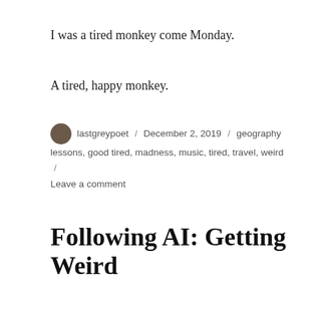I was a tired monkey come Monday.
A tired, happy monkey.
lastgreypoet / December 2, 2019 / geography lessons, good tired, madness, music, tired, travel, weird / Leave a comment
Following AI: Getting Weird
(Note: I found some half-finished posts in the backlog. Found. Right where I left them. There’s like a hundred, no exaggeration. Most will